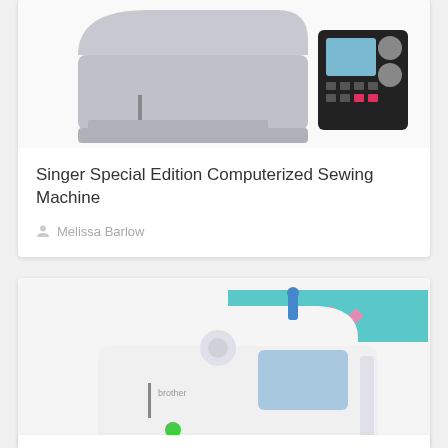[Figure (photo): Singer Special Edition Computerized Sewing Machine - silver/grey machine with digital display and control panel on white background]
Singer Special Edition Computerized Sewing Machine
Melissa Barlow
[Figure (photo): Brother computerized sewing and embroidery machine (white) with teal banner showing decorative diamond/stitch pattern icons above it]